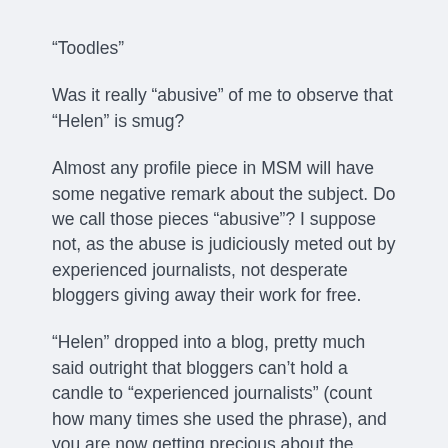“Toodles”
Was it really “abusive” of me to observe that “Helen” is smug?
Almost any profile piece in MSM will have some negative remark about the subject. Do we call those pieces “abusive”? I suppose not, as the abuse is judiciously meted out by experienced journalists, not desperate bloggers giving away their work for free.
“Helen” dropped into a blog, pretty much said outright that bloggers can’t hold a candle to “experienced journalists” (count how many times she used the phrase), and you are now getting precious about the response.